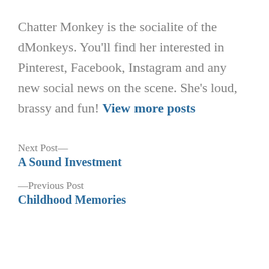Chatter Monkey is the socialite of the dMonkeys. You'll find her interested in Pinterest, Facebook, Instagram and any new social news on the scene. She's loud, brassy and fun! View more posts
Next Post—
A Sound Investment
—Previous Post
Childhood Memories